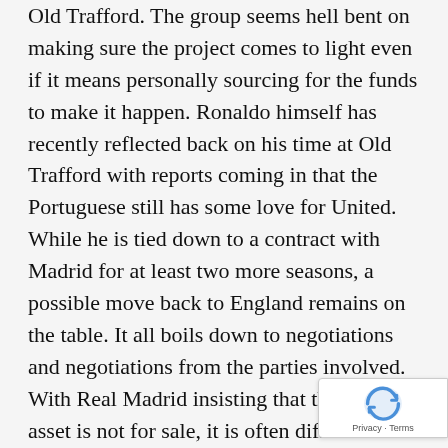Old Trafford. The group seems hell bent on making sure the project comes to light even if it means personally sourcing for the funds to make it happen. Ronaldo himself has recently reflected back on his time at Old Trafford with reports coming in that the Portuguese still has some love for United. While he is tied down to a contract with Madrid for at least two more seasons, a possible move back to England remains on the table. It all boils down to negotiations and negotiations from the parties involved. With Real Madrid insisting that their prized asset is not for sale, it is often difficult for a club to hold on to a player who has set his sights on another club.
Real Madrid bought Ronaldo from Manchester United in a then world record GBP80 million. And if there ever exist the possibility of recouping substantial amount of that massive cost from deal whatsoever, then Real Madrid might likely